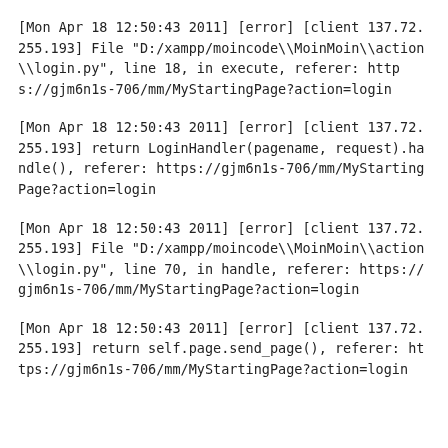[Mon Apr 18 12:50:43 2011] [error] [client 137.72.255.193] File "D:/xampp/moincode\\MoinMoin\\action\\login.py", line 18, in execute, referer: https://gjm6n1s-706/mm/MyStartingPage?action=login
[Mon Apr 18 12:50:43 2011] [error] [client 137.72.255.193] return LoginHandler(pagename, request).handle(), referer: https://gjm6n1s-706/mm/MyStartingPage?action=login
[Mon Apr 18 12:50:43 2011] [error] [client 137.72.255.193] File "D:/xampp/moincode\\MoinMoin\\action\\login.py", line 70, in handle, referer: https://gjm6n1s-706/mm/MyStartingPage?action=login
[Mon Apr 18 12:50:43 2011] [error] [client 137.72.255.193] return self.page.send_page(), referer: https://gjm6n1s-706/mm/MyStartingPage?action=login